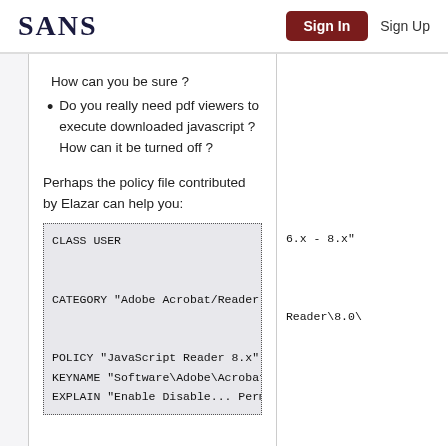SANS | Sign In | Sign Up
How can you be sure ?
Do you really need pdf viewers to execute downloaded javascript ? How can it be turned off ?
Perhaps the policy file contributed by Elazar can help you:
CLASS USER

CATEGORY "Adobe Acrobat/Reader 6.x - 8.x"

POLICY "JavaScript Reader 8.x"
KEYNAME "Software\Adobe\Acrobat Reader\8.0\
EXPLAIN "Enable Disabled... Permissions...